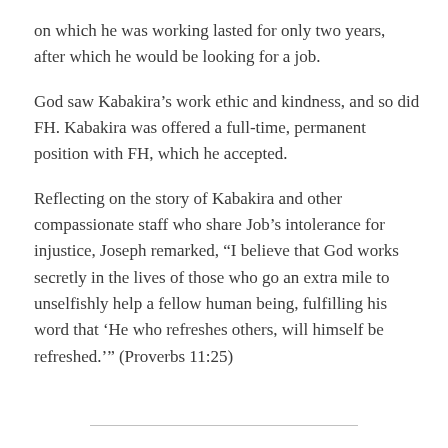on which he was working lasted for only two years, after which he would be looking for a job.
God saw Kabakira’s work ethic and kindness, and so did FH. Kabakira was offered a full-time, permanent position with FH, which he accepted.
Reflecting on the story of Kabakira and other compassionate staff who share Job’s intolerance for injustice, Joseph remarked, “I believe that God works secretly in the lives of those who go an extra mile to unselfishly help a fellow human being, fulfilling his word that ‘He who refreshes others, will himself be refreshed.’” (Proverbs 11:25)